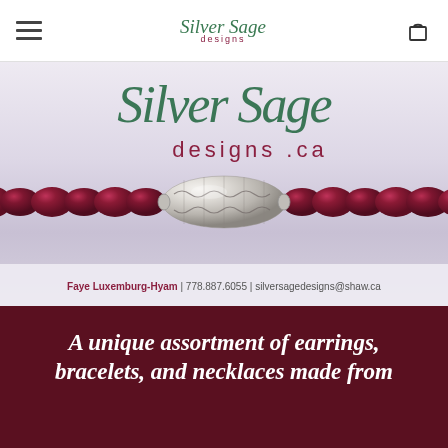Silver Sage designs (navigation header with hamburger menu and cart icon)
[Figure (photo): Silver Sage Designs branded hero image showing deep red/burgundy round gemstone beads strung on a necklace with an ornate engraved silver elongated bead at center. Overlay text reads 'Silver Sage designs .ca' in green script and dark red lettering. Contact info: Faye Luxemburg-Hyam | 778.887.6055 | silversagedesigns@shaw.ca]
A unique assortment of earrings, bracelets, and necklaces made from